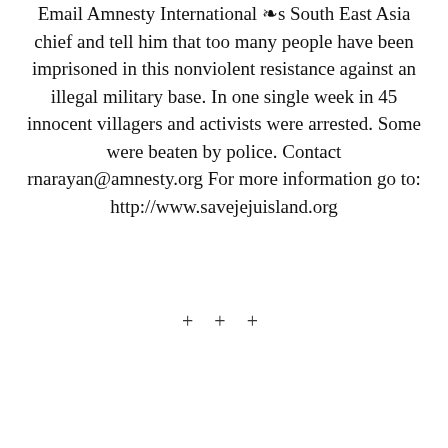Email Amnesty International ï¿½s South East Asia chief and tell him that too many people have been imprisoned in this nonviolent resistance against an illegal military base. In one single week in 45 innocent villagers and activists were arrested. Some were beaten by police. Contact rnarayan@amnesty.org For more information go to: http://www.savejejuisland.org
+ + +